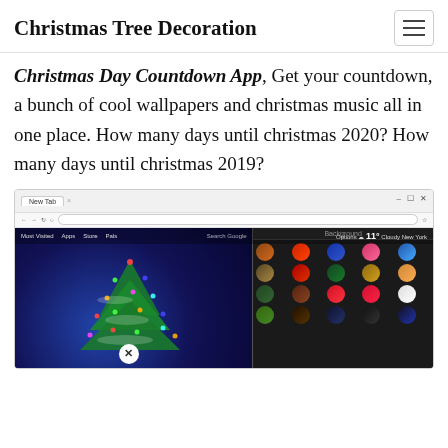Christmas Tree Decoration
Christmas Day Countdown App, Get your countdown, a bunch of cool wallpapers and christmas music all in one place. How many days until christmas 2020? How many days until christmas 2019?
[Figure (screenshot): Screenshot of a Chrome browser extension showing a Christmas-themed new tab page with a decorated glowing tree on the left and a background image selector panel on the right]